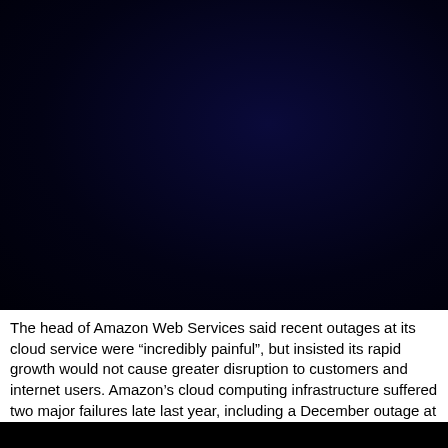[Figure (photo): Dark navy blue background image, likely a photograph with a very dark, almost black deep-blue gradient background filling the upper portion of the page.]
The head of Amazon Web Services said recent outages at its cloud service were “incredibly painful”, but insisted its rapid growth would not cause greater disruption to customers and internet users. Amazon’s cloud computing infrastructure suffered two major failures late last year, including a December outage at its data center in northern Virginia, which also […]]>